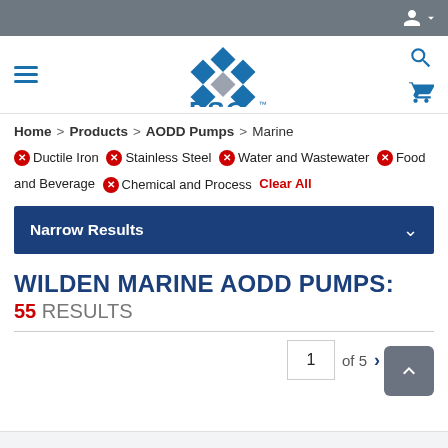[Figure (logo): PSG a Dover company logo with blue diamond pattern]
Home > Products > AODD Pumps > Marine
❌ Ductile Iron  ❌ Stainless Steel  ❌ Water and Wastewater  ❌ Food and Beverage  ❌ Chemical and Process  Clear All
Narrow Results
WILDEN MARINE AODD PUMPS:
55 RESULTS
1 of 5 >